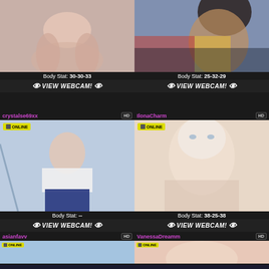[Figure (photo): Female figure seated, nude torso]
Body Stat: 30-30-33
VIEW WEBCAM!
crystalse69xx HD
[Figure (photo): Female figure in swimwear, dark hair]
Body Stat: 25-32-29
VIEW WEBCAM!
IlonaCharm HD
[Figure (photo): Young woman in white t-shirt and skirt, ONLINE badge]
Body Stat: --
VIEW WEBCAM!
[Figure (photo): Blonde woman close-up, blue eyes, ONLINE badge]
Body Stat: 38-25-38
VIEW WEBCAM!
asianfavv HD ONLINE
VanessaDreamm HD ONLINE